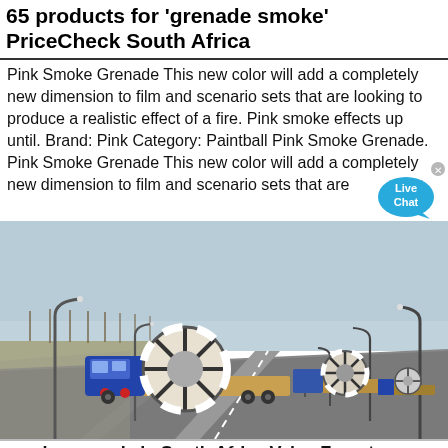65 products for 'grenade smoke' PriceCheck South Africa
Pink Smoke Grenade This new color will add a completely new dimension to film and scenario sets that are looking to produce a realistic effect of a fire. Pink smoke effects up until. Brand: Pink Category: Paintball Pink Smoke Grenade. Pink Smoke Grenade This new color will add a completely new dimension to film and scenario sets that are
[Figure (photo): Photograph of heavy-load transport trucks on a wide road carrying large industrial spool/reel loads, with streetlights lining the road and bare trees in the background under a clear sky.]
smoke grenade in South Africa Value Forest...